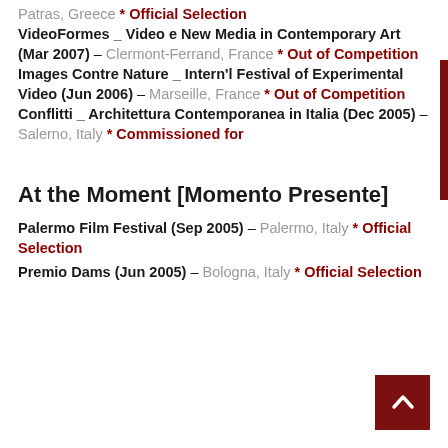Patras, Greece * Official Selection VideoFormes _ Video e New Media in Contemporary Art (Mar 2007) – Clermont-Ferrand, France * Out of Competition Images Contre Nature _ Intern'l Festival of Experimental Video (Jun 2006) – Marseille, France * Out of Competition Conflitti _ Architettura Contemporanea in Italia (Dec 2005) – Salerno, Italy * Commissioned for
At the Moment [Momento Presente]
Palermo Film Festival (Sep 2005) – Palermo, Italy * Official Selection
Premio Dams (Jun 2005) – Bologna, Italy * Official Selection